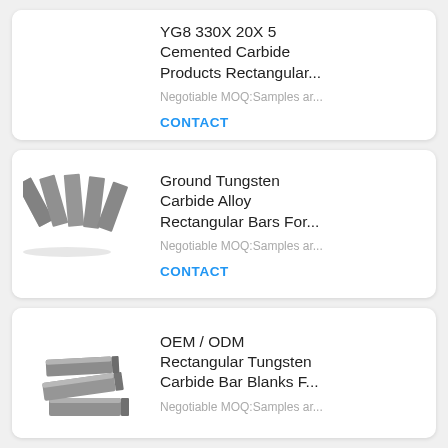[Figure (photo): No product image shown for first card (white space)]
YG8 330X 20X 5 Cemented Carbide Products Rectangular...
Negotiable MOQ:Samples ar...
CONTACT
[Figure (photo): Photo of multiple fan-shaped ground tungsten carbide alloy rectangular bars arranged in a fan pattern, metallic gray color]
Ground Tungsten Carbide Alloy Rectangular Bars For...
Negotiable MOQ:Samples ar...
CONTACT
[Figure (photo): Photo of stacked rectangular tungsten carbide bar blanks, metallic gray color]
OEM / ODM Rectangular Tungsten Carbide Bar Blanks F...
Negotiable MOQ:Samples ar...